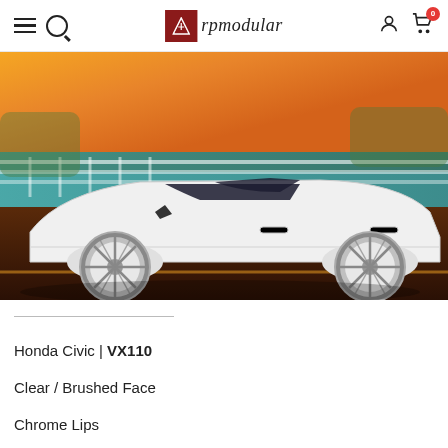rpmodular — navigation bar with hamburger menu, search icon, logo, user icon, cart icon with badge 0
[Figure (photo): Side profile photo of a white Honda Civic slammed/lowered on large chrome multi-spoke wheels (VX110), shot at golden hour with teal/turquoise barrier and warm orange sky in background.]
Honda Civic | VX110
Clear / Brushed Face
Chrome Lips